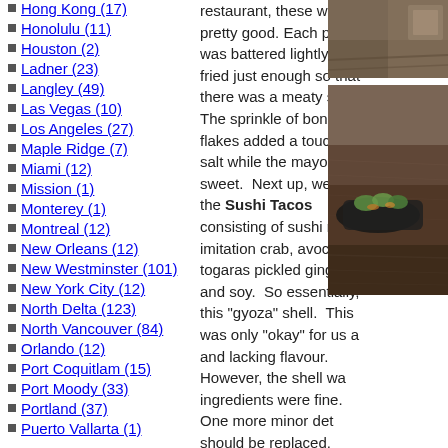Hong Kong (17)
Honolulu (11)
Houston (2)
Ladner (23)
Langley (49)
Las Vegas (10)
Los Angeles (27)
Maple Ridge (7)
Miami (12)
Mission (1)
Monterey (1)
Montreal (12)
New Orleans (12)
New Westminster (101)
New York City (12)
North Delta (123)
North Vancouver (84)
Orlando (12)
Port Coquitlam (15)
Port Moody (33)
Portland (37)
Puerto Vallarta (1)
[Figure (photo): Top image: dark wooden restaurant table surface, close crop]
[Figure (photo): Bottom image: plate of sushi tacos with green items on dark plate, on wooden table]
restaurant, these were pretty good. Each prawn was battered lightly and fried just enough so that there was a meaty snap.  The sprinkle of bonito flakes added a touch of salt while the mayo was sweet.  Next up, we had the Sushi Tacos consisting of sushi rice, imitation crab, avocado, togaras pickled ginger and soy.  So essentially, this "gyoza" shell.  This was only "okay" for us a and lacking flavour.  However, the shell wa ingredients were fine.  One more minor det should be replaced.